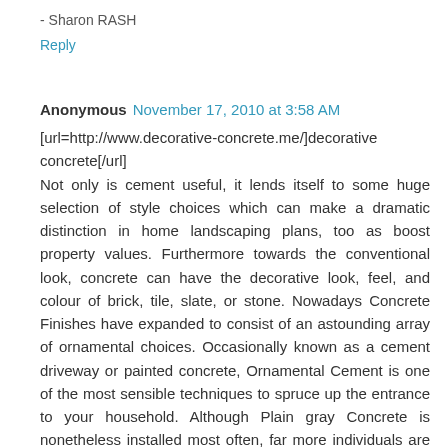- Sharon RASH
Reply
Anonymous  November 17, 2010 at 3:58 AM
[url=http://www.decorative-concrete.me/]decorative concrete[/url]
Not only is cement useful, it lends itself to some huge selection of style choices which can make a dramatic distinction in home landscaping plans, too as boost property values. Furthermore towards the conventional look, concrete can have the decorative look, feel, and colour of brick, tile, slate, or stone. Nowadays Concrete Finishes have expanded to consist of an astounding array of ornamental choices. Occasionally known as a cement driveway or painted concrete, Ornamental Cement is one of the most sensible techniques to spruce up the entrance to your household. Although Plain gray Concrete is nonetheless installed most often, far more individuals are catching on for the dazzling results possible with ornamental cement, and seeing the instant curb attraction a